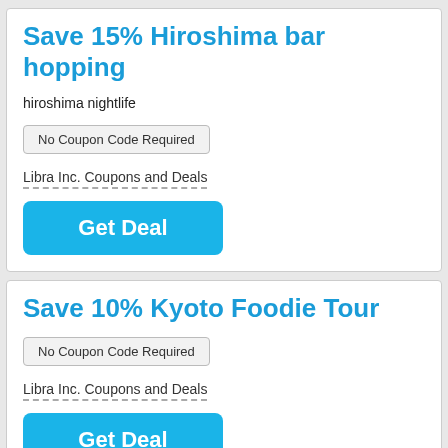Save 15% Hiroshima bar hopping
hiroshima nightlife
No Coupon Code Required
Libra Inc. Coupons and Deals
Get Deal
Save 10% Kyoto Foodie Tour
No Coupon Code Required
Libra Inc. Coupons and Deals
Get Deal